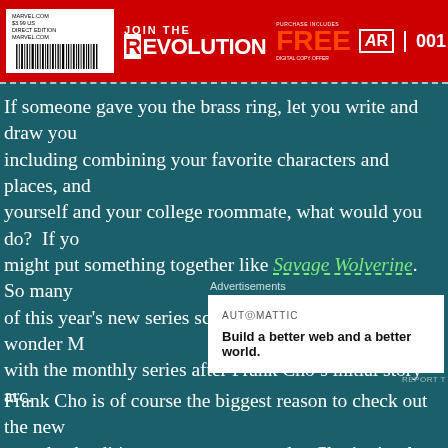JOIN THE REVOLUTION | PURCHASE INCLUDES FREE DIGITAL COPY OFFER | AR | 001
If someone gave you the brass ring, let you write and draw your including combining your favorite characters and places, and yourself and your college roommate, what would you do? If yo might put something together like Savage Wolverine. So many of this year's new series screamed “win” that it’s no wonder M with the monthly series after Frank Cho’s initial story arc.
Advertisements
[Figure (other): Automattic advertisement: AUTOMATTIC logo with tagline 'Build a better web and a better world.']
Frank Cho is of course the biggest reason to check out the new paperback edition now on newsstands. Cho is simply the best dinosaurs and guns and bringing them all together. And while awaiting the long-delayed Guns & Dinos series that was suppose the heck is that anyway?), Cho is forgiven as this is the next be